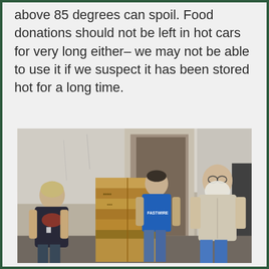above 85 degrees can spoil. Food donations should not be left in hot cars for very long either– we may not be able to use it if we suspect it has been stored hot for a long time.
[Figure (photo): Three people standing in a warehouse loading dock area. On the left is an older woman in a dark t-shirt, in the middle is a younger man in a blue Fastwire shirt, and on the right is an older man with a long white beard in a light button-up shirt. Between them is a large pallet stacked with cardboard boxes of produce. A large roll-up loading dock door is open behind them.]